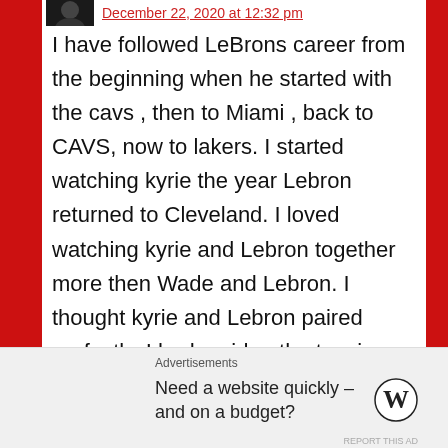December 22, 2020 at 12:32 pm
I have followed LeBrons career from the beginning when he started with the cavs , then to Miami , back to CAVS, now to lakers. I started watching kyrie the year Lebron returned to Cleveland. I loved watching kyrie and Lebron together more then Wade and Lebron. I thought kyrie and Lebron paired perfectly. I had no idea the tension those two had off court until kyrie asked to be traded. I remember I was In Missouri working when the 2016 playoffs was going on. I was on a three
Advertisements
Need a website quickly – and on a budget?